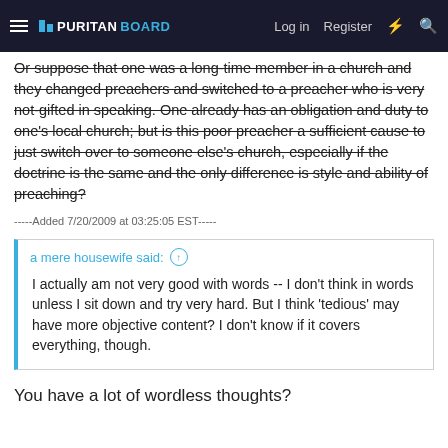Puritan Board — Log in | Register
Or suppose that one was a long-time member in a church and they changed preachers and switched to a preacher who is very not-gifted in speaking. One already has an obligation and duty to one's local church; but is this poor preacher a sufficient cause to just switch over to someone else's church, especially if the doctrine is the same and the only difference is style and ability of preaching?
-----Added 7/20/2009 at 03:25:05 EST-----
a mere housewife said: ↑
I actually am not very good with words -- I don't think in words unless I sit down and try very hard. But I think 'tedious' may have more objective content? I don't know if it covers everything, though.
You have a lot of wordless thoughts?